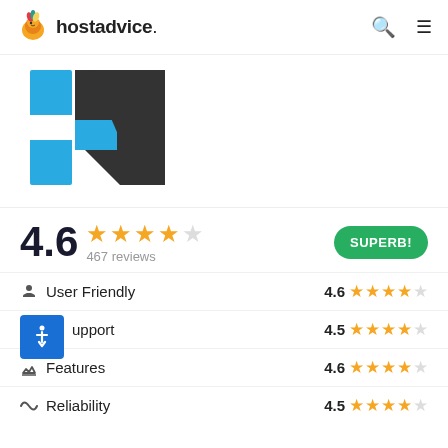hostadvice.
[Figure (logo): Brand logo with stylized F/7 shaped figure in blue and dark gray]
4.6 ★★★★½ 467 reviews SUPERB!
User Friendly 4.6 ★★★★½
Support 4.5 ★★★★½
Features 4.6 ★★★★½
Reliability 4.5 ★★★★½